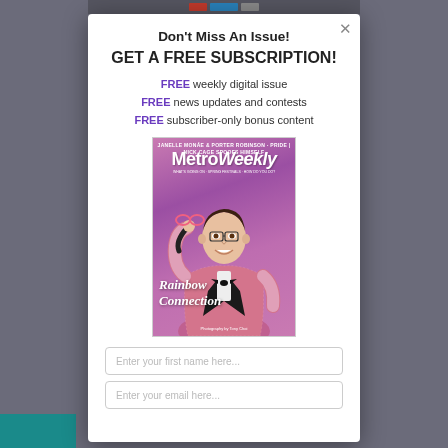Don't Miss An Issue!
GET A FREE SUBSCRIPTION!
FREE weekly digital issue
FREE news updates and contests
FREE subscriber-only bonus content
[Figure (photo): Metro Weekly magazine cover featuring a man in a pink sequined tuxedo jacket with black lapels and bow tie, holding pink glasses. Cover text reads 'Rainbow Connection'. Purple/pink background.]
Enter your first name here...
Enter your email here...